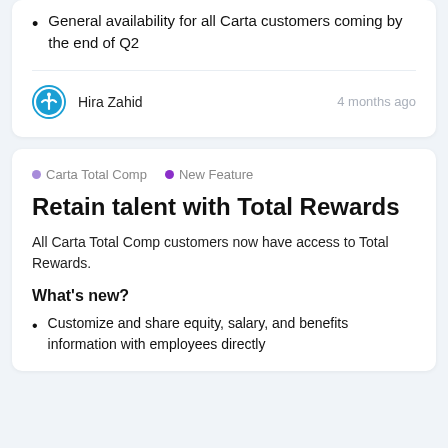General availability for all Carta customers coming by the end of Q2
Hira Zahid    4 months ago
Carta Total Comp  •  New Feature
Retain talent with Total Rewards
All Carta Total Comp customers now have access to Total Rewards.
What’s new?
Customize and share equity, salary, and benefits information with employees directly